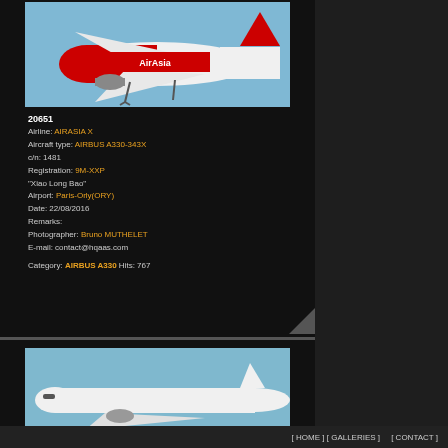[Figure (photo): AirAsia X Airbus A330-343X aircraft in flight against blue sky, viewed from below/side showing red livery and landing gear deployed]
20651
Airline: AIRASIA X
Aircraft type: AIRBUS A330-343X
c/n: 1481
Registration: 9M-XXP
"Xiao Long Bao"
Airport: Paris-Orly(ORY)
Date: 22/08/2016
Remarks:
Photographer: Bruno MUTHELET
E-mail: contact@hqaas.com

Category: AIRBUS A330 Hits: 767
[Figure (photo): Partial view of another aircraft on blue sky background, appears to be a white aircraft]
[ HOME ] [ GALLERIES ]     [ CONTACT ]